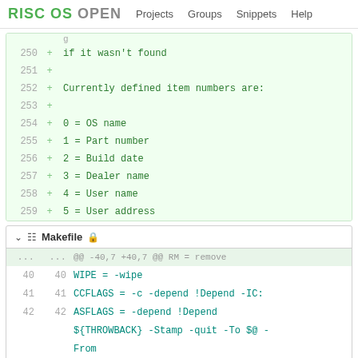RISC OS OPEN | Projects | Groups | Snippets | Help
[Figure (screenshot): Diff view showing lines 250-259 with added lines: 'if it wasn't found', blank, 'Currently defined item numbers are:', blank, '0 = OS name', '1 = Part number', '2 = Build date', '3 = Dealer name', '4 = User name', '5 = User address']
Makefile
[Figure (screenshot): Diff view of Makefile showing lines 40-43: WIPE = -wipe, CCFLAGS = -c -depend !Depend -IC:, ASFLAGS = -depend !Depend ${THROWBACK} -Stamp -quit -To $@ -From, removed line 43: ARMASMFLAGS = -depend !Depend -g]